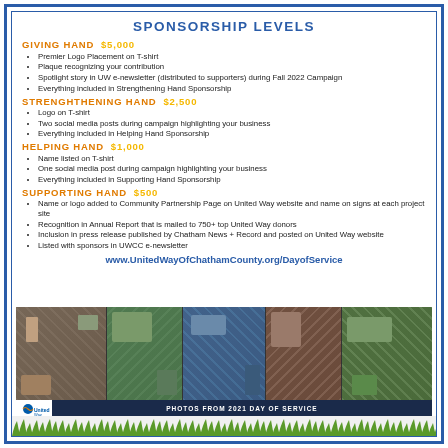SPONSORSHIP LEVELS
GIVING HAND  $5,000
Premier Logo Placement on T-shirt
Plaque recognizing your contribution
Spotlight story in UW e-newsletter (distributed to supporters) during Fall 2022 Campaign
Everything included in Strengthening Hand Sponsorship
STRENGHTHENING HAND  $2,500
Logo on T-shirt
Two social media posts during campaign highlighting your business
Everything included in Helping Hand Sponsorship
HELPING HAND  $1,000
Name listed on T-shirt
One social media post during campaign highlighting your business
Everything included in Supporting Hand Sponsorship
SUPPORTING HAND  $500
Name or logo added to Community Partnership Page on United Way website and name on signs at each project site
Recognition in Annual Report that is mailed to 750+ top United Way donors
Inclusion in press release published by Chatham News + Record and posted on United Way website
Listed with sponsors in UWCC e-newsletter
www.UnitedWayOfChathamCounty.org/DayofService
[Figure (photo): Photo collage from 2021 Day of Service showing volunteers working at various community project sites]
PHOTOS FROM 2021 DAY OF SERVICE